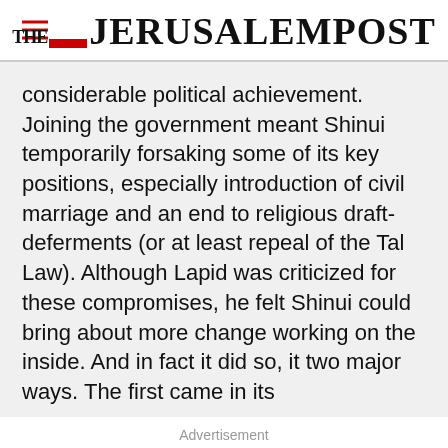THE JERUSALEM POST
considerable political achievement. Joining the government meant Shinui temporarily forsaking some of its key positions, especially introduction of civil marriage and an end to religious draft-deferments (or at least repeal of the Tal Law). Although Lapid was criticized for these compromises, he felt Shinui could bring about more change working on the inside. And in fact it did so, it two major ways. The first came in its
Advertisement